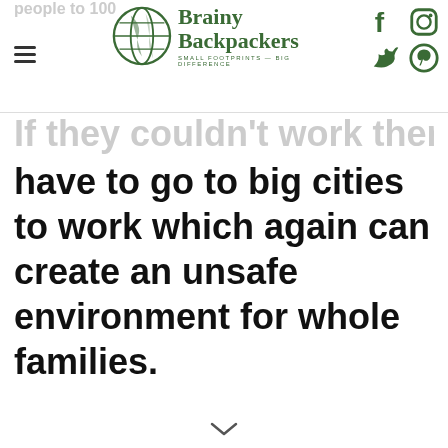Brainy Backpackers — Small Footprints — Big Difference
If they couldn't work there, they would have to go to big cities to work which again can create an unsafe environment for whole families.